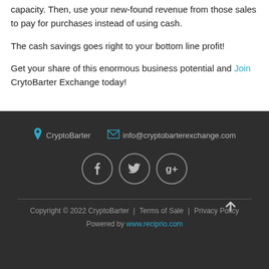capacity. Then, use your new-found revenue from those sales to pay for purchases instead of using cash.
The cash savings goes right to your bottom line profit!
Get your share of this enormous business potential and Join CrytoBarter Exchange today!
CryptoBarter | info@cryptobarterexchange.com | Facebook | Twitter | Google+ | Copyright © 2022 CryptoBarter | Terms of Sale | Privacy Policy | Powered by www.reciprio.com